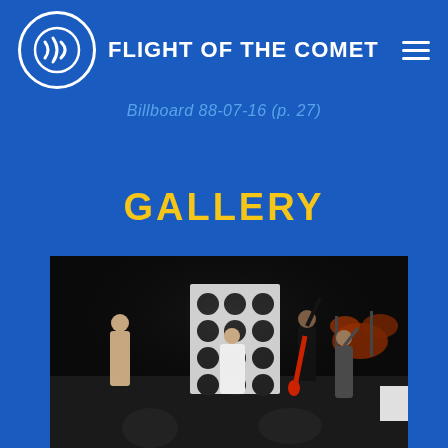FLIGHT OF THE COMET
Billboard 88-07-16 (p. 27)
GALLERY
[Figure (photo): Concert photo showing a band performing on stage with large speaker stacks, a guitarist in a black outfit with raised arm, audience members dancing and watching, drum kit visible on the right side of the stage, dark venue lighting]